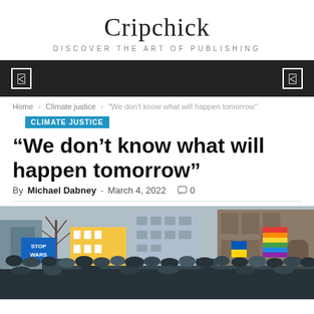Cripchick
DISCOVER THE ART OF PUBLISHING
Home › Climate justice › "We don't know what will happen tomorrow"
CLIMATE JUSTICE
“We don’t know what will happen tomorrow”
By Michael Dabney - March 4, 2022   0
[Figure (photo): A street protest scene with people holding signs including a 'STOP WARS' sign and rainbow flags, with urban buildings in the background]